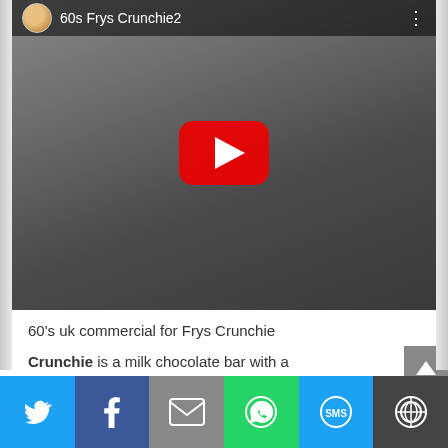[Figure (screenshot): YouTube video thumbnail showing a 60s Frys Crunchie2 video with a red play button overlay, video title bar with avatar and title '60s Frys Crunchie2' and three-dot menu]
60's uk commercial for Frys Crunchie
Crunchie is a milk chocolate bar with a "honeycombed" sugar centre. It is made by Cadbury UK and was originally launched by J. S. Fry & Sons in
[Figure (infographic): Social share bar with Twitter, Facebook, Email, WhatsApp, SMS, and More buttons in respective brand colors]